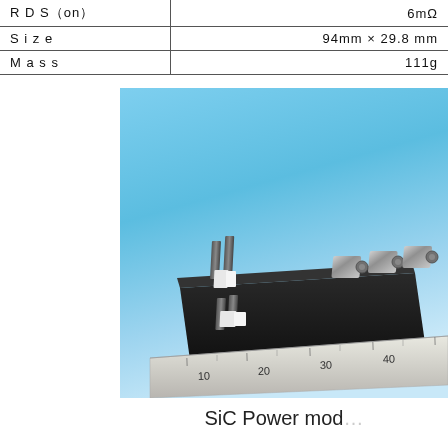| Parameter | Value |
| --- | --- |
| R D S（on） | 6mΩ |
| S i z e | 94mm × 29.8 mm |
| M a s s | 111g |
[Figure (photo): SiC Power module component photographed on a light blue background with a metal ruler showing scale markings 10, 20, 30, 40]
SiC Power mod...